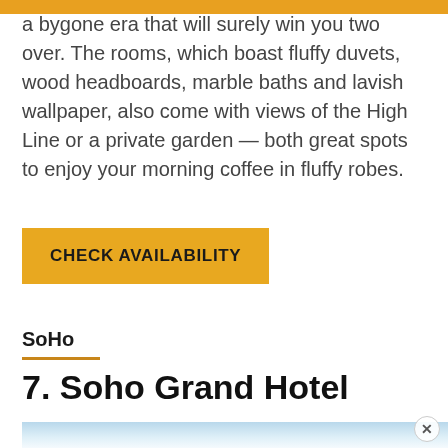a bygone era that will surely win you two over. The rooms, which boast fluffy duvets, wood headboards, marble baths and lavish wallpaper, also come with views of the High Line or a private garden — both great spots to enjoy your morning coffee in fluffy robes.
CHECK AVAILABILITY
SoHo
7. Soho Grand Hotel
[Figure (photo): Partially visible photo at bottom of page showing what appears to be a blue-toned outdoor or landscape image, partially cropped]